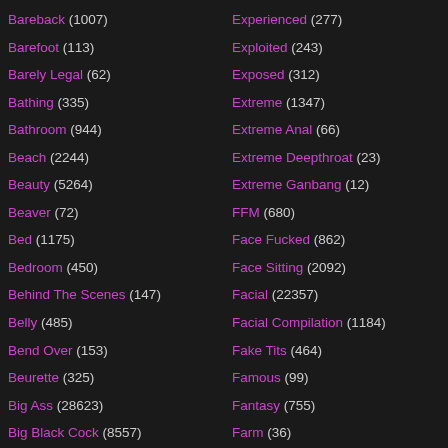Bareback (1007)
Barefoot (113)
Barely Legal (62)
Bathing (335)
Bathroom (944)
Beach (2244)
Beauty (5264)
Beaver (72)
Bed (1175)
Bedroom (450)
Behind The Scenes (147)
Belly (485)
Bend Over (153)
Beurette (325)
Big Ass (28623)
Big Black Cock (8557)
Experienced (277)
Exploited (243)
Exposed (312)
Extreme (1347)
Extreme Anal (66)
Extreme Deepthroat (23)
Extreme Ganbang (12)
FFM (680)
Face Fucked (862)
Face Sitting (2092)
Facial (22357)
Facial Compilation (1184)
Fake Tits (464)
Famous (99)
Fantasy (755)
Farm (36)